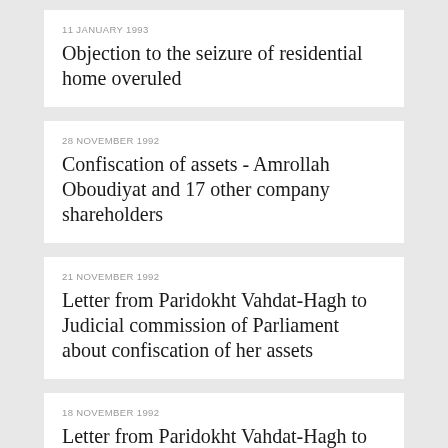11 JANUARY 1993
Objection to the seizure of residential home overuled
28 NOVEMBER 1992
Confiscation of assets - Amrollah Oboudiyat and 17 other company shareholders
21 NOVEMBER 1992
Letter from Paridokht Vahdat-Hagh to Judicial commission of Parliament about confiscation of her assets
18 NOVEMBER 1992
Letter from Paridokht Vahdat-Hagh to the Parliament about confiscation of her assets